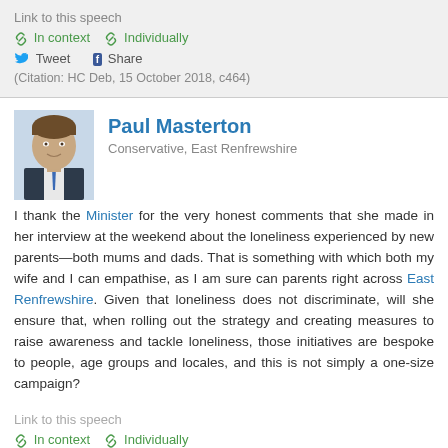Link to this speech
In context   Individually
Tweet   Share
(Citation: HC Deb, 15 October 2018, c464)
Paul Masterton
Conservative, East Renfrewshire
I thank the Minister for the very honest comments that she made in her interview at the weekend about the loneliness experienced by new parents—both mums and dads. That is something with which both my wife and I can empathise, as I am sure can parents right across East Renfrewshire. Given that loneliness does not discriminate, will she ensure that, when rolling out the strategy and creating measures to raise awareness and tackle loneliness, those initiatives are bespoke to people, age groups and locales, and this is not simply a one-size campaign?
Link to this speech
In context   Individually